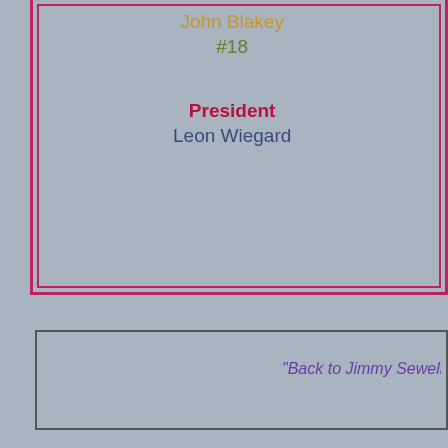John Blakey
#18
Gary Keane
#25
President
Leon Wiegard
Coach
David Parkin
"Back to Jimmy Sewell he weaves around t